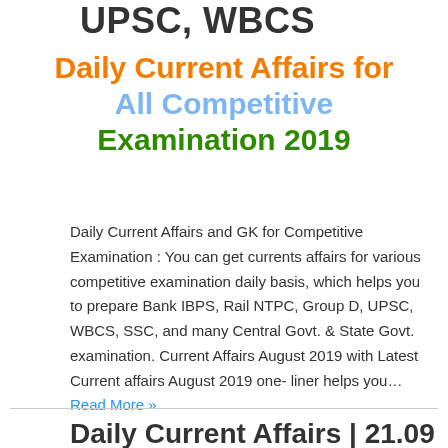UPSC, WBCS
Daily Current Affairs for All Competitive Examination 2019
Daily Current Affairs and GK for Competitive Examination : You can get currents affairs for various competitive examination daily basis, which helps you to prepare Bank IBPS, Rail NTPC, Group D, UPSC, WBCS, SSC, and many Central Govt. & State Govt. examination. Current Affairs August 2019 with Latest Current affairs August 2019 one-liner helps you… Read More »
Daily Current Affairs | 21.09